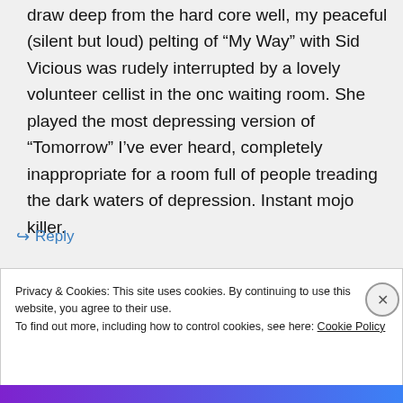draw deep from the hard core well, my peaceful (silent but loud) pelting of “My Way” with Sid Vicious was rudely interrupted by a lovely volunteer cellist in the onc waiting room. She played the most depressing version of “Tomorrow” I’ve ever heard, completely inappropriate for a room full of people treading the dark waters of depression. Instant mojo killer.
↪ Reply
Privacy & Cookies: This site uses cookies. By continuing to use this website, you agree to their use.
To find out more, including how to control cookies, see here: Cookie Policy